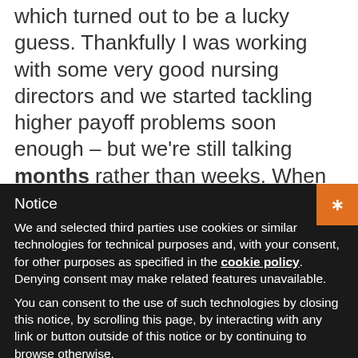what I was doing, so by default I started on 3S which turned out to be a lucky guess. Thankfully I was working with some very good nursing directors and we started tackling higher payoff problems soon enough – but we're still talking months rather than weeks. When your sensei is experienced in your situation, change is faster because he or she is clearer about what is a real problem and what
Notice
We and selected third parties use cookies or similar technologies for technical purposes and, with your consent, for other purposes as specified in the cookie policy. Denying consent may make related features unavailable.
You can consent to the use of such technologies by closing this notice, by scrolling this page, by interacting with any link or button outside of this notice or by continuing to browse otherwise.